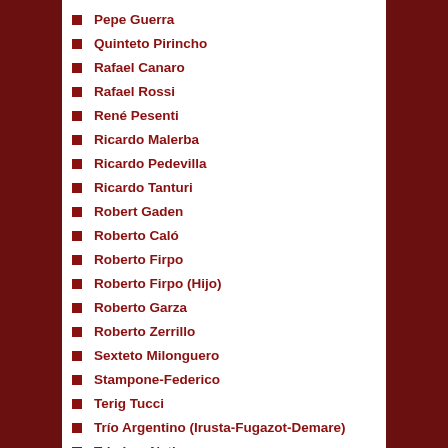Pepe Guerra
Quinteto Pirincho
Rafael Canaro
Rafael Rossi
René Pesenti
Ricardo Malerba
Ricardo Pedevilla
Ricardo Tanturi
Robert Gaden
Roberto Caló
Roberto Firpo
Roberto Firpo (Hijo)
Roberto Garza
Roberto Zerrillo
Sexteto Milonguero
Stampone-Federico
Terig Tucci
Trío Argentino (Irusta-Fugazot-Demare)
Trio Los Nativos
Various Artists
Victor D'Amario